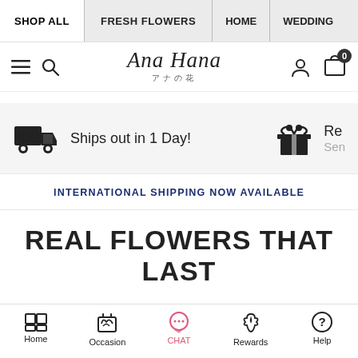SHOP ALL | FRESH FLOWERS | HOME | WEDDING
[Figure (logo): Ana Hana flower shop logo with Japanese characters アナの花]
Ships out in 1 Day!
Re... Sen...
INTERNATIONAL SHIPPING NOW AVAILABLE
REAL FLOWERS THAT LAST
Home | Occasion | CHAT | Rewards | Help